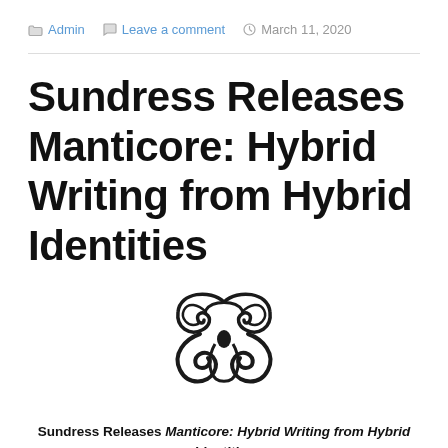Admin  Leave a comment  March 11, 2020
Sundress Releases Manticore: Hybrid Writing from Hybrid Identities
[Figure (logo): Ornamental symmetrical logo mark with swirling flourishes, resembling a stylized bird or floral motif in black]
Sundress Releases Manticore: Hybrid Writing from Hybrid Identities